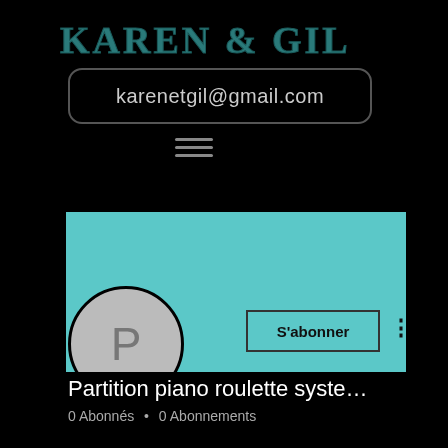Karen & Gil
karenetgil@gmail.com
[Figure (other): Hamburger menu icon (three horizontal lines)]
[Figure (other): Teal/cyan channel art banner background]
[Figure (other): Profile avatar circle with letter P]
S'abonner
Partition piano roulette syste…
0 Abonnés • 0 Abonnements